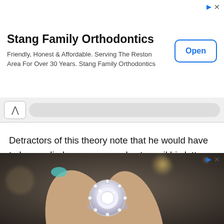[Figure (screenshot): Advertisement banner for Stang Family Orthodontics with title, subtitle text, and Open button]
Stang Family Orthodontics
Friendly, Honest & Affordable. Serving The Reston Area For Over 30 Years. Stang Family Orthodontics
[Figure (screenshot): Browser navigation bar with back arrow and URL address bar]
Detractors of this theory note that he would have to have relied on someone else to mail his letters from Mexico, and the fact that nothing of his remains have been found by the 100 million or so visitors to the park in the intervening 90 years.
Fighting for the Mexican Revolution
[Figure (photo): Close-up photograph of a hand holding a large diamond halo ring, blurred background of a restaurant or bar setting]